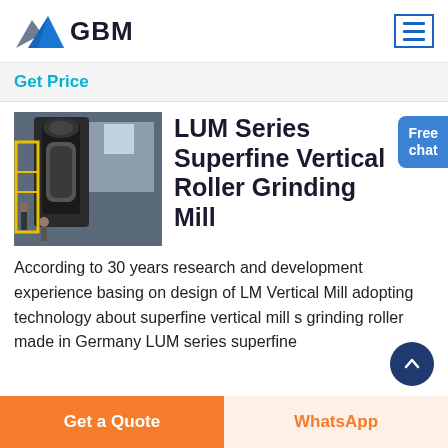[Figure (logo): GBM company logo with geometric mountain shape in blue/grey tones and bold GBM text]
Get Price
[Figure (photo): Industrial photo of LUM Series vertical roller grinding mill machinery in a factory setting]
LUM Series Superfine Vertical Roller Grinding Mill
Free chat
According to 30 years research and development experience basing on design of LM Vertical Mill adopting technology about superfine vertical mill s grinding roller made in Germany LUM series superfine vertical roller grinding mill was based on the
Get a Quote
WhatsApp